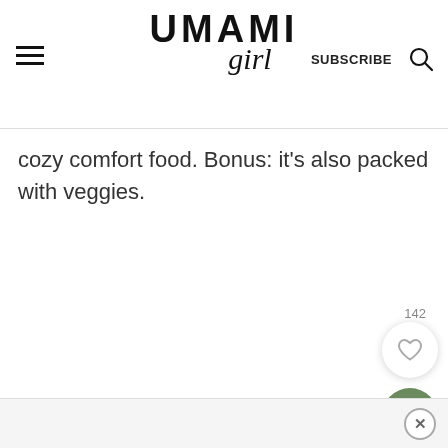UMAMI girl — SUBSCRIBE
cozy comfort food. Bonus: it's also packed with veggies.